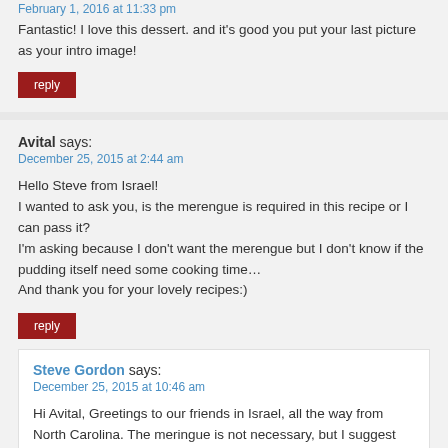February 1, 2016 at 11:33 pm
Fantastic! I love this dessert. and it's good you put your last picture as your intro image!
reply
Avital says:
December 25, 2015 at 2:44 am
Hello Steve from Israel!
I wanted to ask you, is the merengue is required in this recipe or I can pass it?
I'm asking because I don't want the merengue but I don't know if the pudding itself need some cooking time…
And thank you for your lovely recipes:)
reply
Steve Gordon says:
December 25, 2015 at 10:46 am
Hi Avital, Greetings to our friends in Israel, all the way from North Carolina. The meringue is not necessary, but I suggest you still bake the assembled pudding for about 10-15